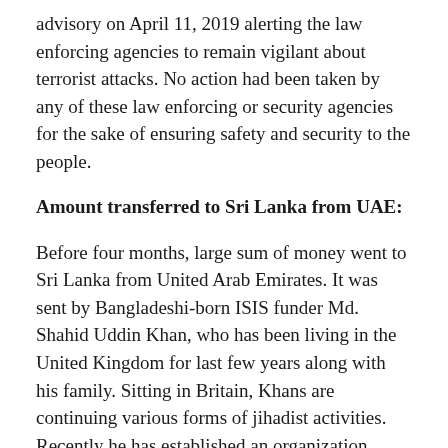advisory on April 11, 2019 alerting the law enforcing agencies to remain vigilant about terrorist attacks. No action had been taken by any of these law enforcing or security agencies for the sake of ensuring safety and security to the people.
Amount transferred to Sri Lanka from UAE:
Before four months, large sum of money went to Sri Lanka from United Arab Emirates. It was sent by Bangladeshi-born ISIS funder Md. Shahid Uddin Khan, who has been living in the United Kingdom for last few years along with his family. Sitting in Britain, Khans are continuing various forms of jihadist activities. Recently he has established an organization named 'Astha' which aims at unseating democratically elected governments in the world and replace those with Caliphate. By now, Md. Shahid Uddin Khan already has expanded his